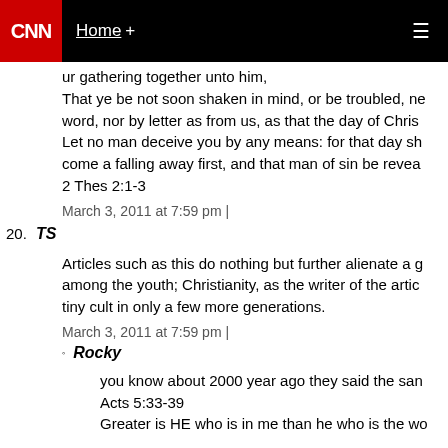CNN Home +
ur gathering together unto him, That ye be not soon shaken in mind, or be troubled, ne word, nor by letter as from us, as that the day of Chris Let no man deceive you by any means: for that day sh come a falling away first, and that man of sin be revea 2 Thes 2:1-3
March 3, 2011 at 7:59 pm |
20. TS
Articles such as this do nothing but further alienate a g among the youth; Christianity, as the writer of the artic tiny cult in only a few more generations.
March 3, 2011 at 7:59 pm |
Rocky
you know about 2000 year ago they said the san Acts 5:33-39 Greater is HE who is in me than he who is the wo